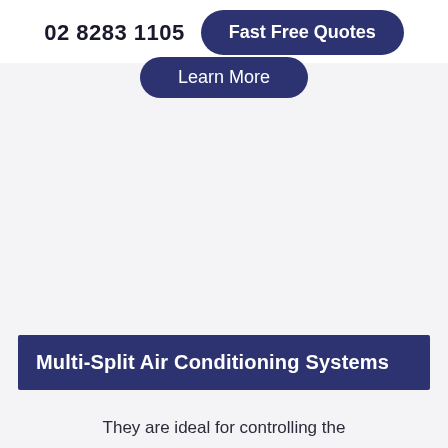02 8283 1105   Fast Free Quotes
Learn More
Multi-Split Air Conditioning Systems
They are ideal for controlling the